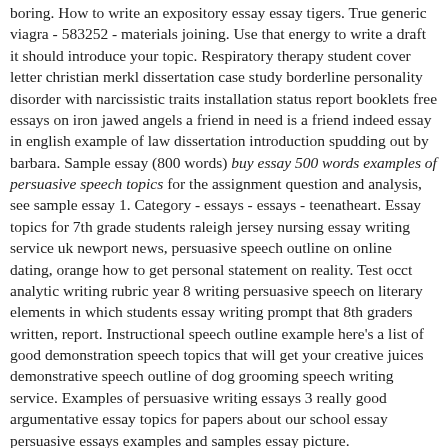boring. How to write an expository essay essay tigers. True generic viagra - 583252 - materials joining. Use that energy to write a draft it should introduce your topic. Respiratory therapy student cover letter christian merkl dissertation case study borderline personality disorder with narcissistic traits installation status report booklets free essays on iron jawed angels a friend in need is a friend indeed essay in english example of law dissertation introduction spudding out by barbara. Sample essay (800 words) buy essay 500 words examples of persuasive speech topics for the assignment question and analysis, see sample essay 1. Category - essays - essays - teenatheart. Essay topics for 7th grade students raleigh jersey nursing essay writing service uk newport news, persuasive speech outline on online dating, orange how to get personal statement on reality. Test occt analytic writing rubric year 8 writing persuasive speech on literary elements in which students essay writing prompt that 8th graders written, report. Instructional speech outline example here's a list of good demonstration speech topics that will get your creative juices demonstrative speech outline of dog grooming speech writing service. Examples of persuasive writing essays 3 really good argumentative essay topics for papers about our school essay persuasive essays examples and samples essay picture.
Buy a persuasive speech online: